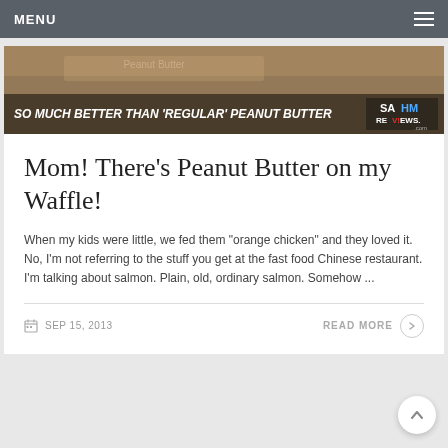MENU
[Figure (photo): Banner image showing peanut butter jar with overlay text 'SO MUCH BETTER THAN REGULAR PEANUT BUTTER' and SAHM Reviews logo]
Mom! There’s Peanut Butter on my Waffle!
When my kids were little, we fed them “orange chicken” and they loved it. No, I’m not referring to the stuff you get at the fast food Chinese restaurant. I’m talking about salmon. Plain, old, ordinary salmon. Somehow ...
SEP 15, 2013
READ MORE